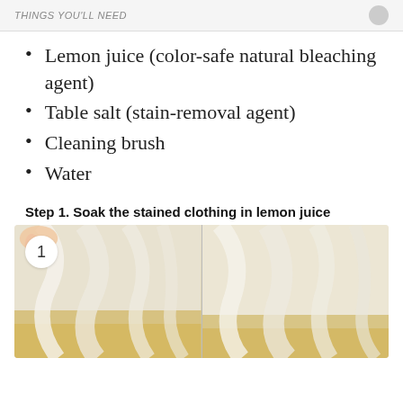THINGS YOU'LL NEED
Lemon juice (color-safe natural bleaching agent)
Table salt (stain-removal agent)
Cleaning brush
Water
Step 1. Soak the stained clothing in lemon juice
[Figure (photo): Two side-by-side photos showing white cloth being soaked in lemon juice (yellowish liquid). A numbered circle '1' appears in the top-left corner of the left photo.]